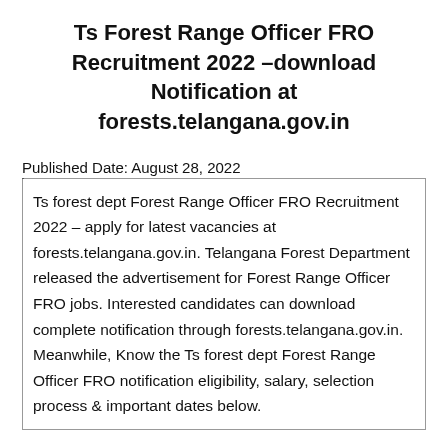Ts Forest Range Officer FRO Recruitment 2022 –download Notification at forests.telangana.gov.in
Published Date: August 28, 2022
Ts forest dept Forest Range Officer FRO Recruitment 2022 – apply for latest vacancies at forests.telangana.gov.in. Telangana Forest Department released the advertisement for Forest Range Officer FRO jobs. Interested candidates can download complete notification through forests.telangana.gov.in. Meanwhile, Know the Ts forest dept Forest Range Officer FRO notification eligibility, salary, selection process & important dates below.